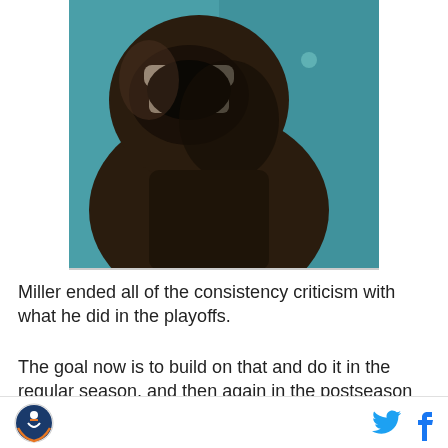[Figure (photo): Close-up dramatic photo of a dark figure with open mouth roaring or laughing, dark brown tones against a teal/blue background, appears to be a sports-related promotional image]
Miller ended all of the consistency criticism with what he did in the playoffs.
The goal now is to build on that and do it in the regular season, and then again in the postseason on the way to back-to-back Super Bowl titles. With what Miller and